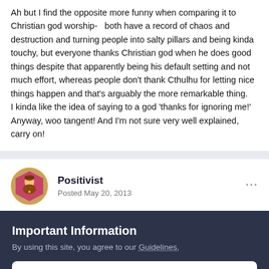Ah but I find the opposite more funny when comparing it to Christian god worship-   both have a record of chaos and destruction and turning people into salty pillars and being kinda touchy, but everyone thanks Christian god when he does good things despite that apparently being his default setting and not much effort, whereas people don't thank Cthulhu for letting nice things happen and that's arguably the more remarkable thing.
I kinda like the idea of saying to a god 'thanks for ignoring me!' Anyway, woo tangent! And I'm not sure very well explained, carry on!
Positivist
Posted May 20, 2013
Important Information
By using this site, you agree to our Guidelines.
✓ I accept